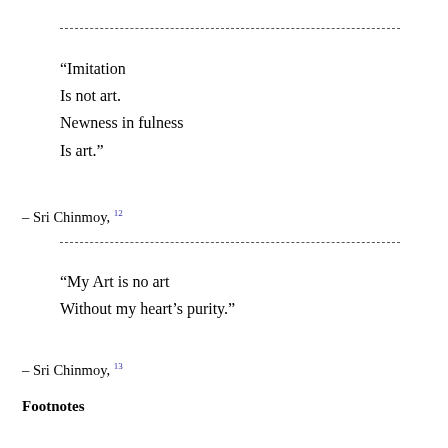“Imitation
Is not art.
Newness in fulness
Is art.”
– Sri Chinmoy, 12
“My Art is no art
Without my heart’s purity.”
– Sri Chinmoy, 13
Footnotes